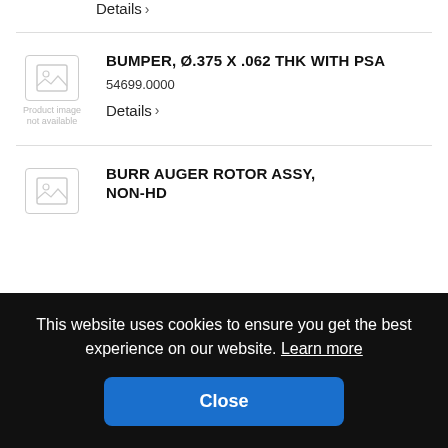Details >
BUMPER, Ø.375 X .062 THK WITH PSA
54699.0000
Details >
BURR AUGER ROTOR ASSY, NON-HD
This website uses cookies to ensure you get the best experience on our website. Learn more
Close
AY, HD